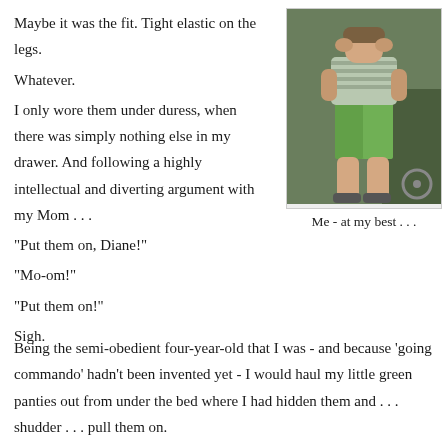Maybe it was the fit. Tight elastic on the legs.
Whatever.
I only wore them under duress, when there was simply nothing else in my drawer. And following a highly intellectual and diverting argument with my Mom . . .
"Put them on, Diane!"
"Mo-om!"
"Put them on!"
Sigh.
[Figure (photo): Vintage color photograph of a young child wearing green shorts and a striped shirt, standing outdoors.]
Me - at my best . . .
Being the semi-obedient four-year-old that I was - and because 'going commando' hadn't been invented yet - I would haul my little green panties out from under the bed where I had hidden them and . . . shudder . . . pull them on.